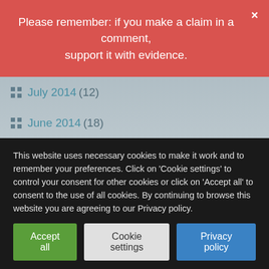Please remember: if you make a claim in a comment, support it with evidence.
July 2014 (12)
June 2014 (18)
May 2014 (21)
April 2014 (7)
March 2014 (11)
February 2014 (10)
January 2014 (17)
December 2013 (14)
November 2013 (19)
This website uses necessary cookies to make it work and to remember your preferences. Click on 'Cookie settings' to control your consent for other cookies or click on 'Accept all' to consent to the use of all cookies. By continuing to browse this website you are agreeing to our Privacy policy.